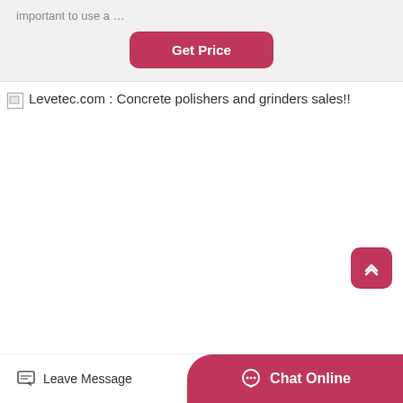important to use a …
Get Price
[Figure (photo): Broken image placeholder with alt text: Levetec.com : Concrete polishers and grinders sales!!]
Leave Message
Chat Online